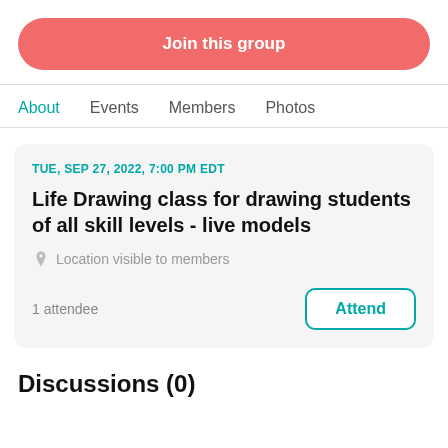Join this group
About  Events  Members  Photos
TUE, SEP 27, 2022, 7:00 PM EDT
Life Drawing class for drawing students of all skill levels - live models
Location visible to members
1 attendee
Attend
Discussions (0)